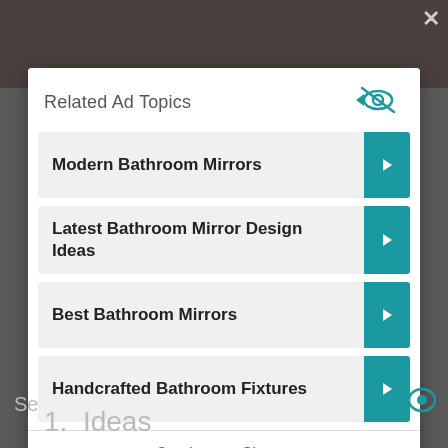Related Ad Topics
Modern Bathroom Mirrors
Latest Bathroom Mirror Design Ideas
Best Bathroom Mirrors
Handcrafted Bathroom Fixtures
Continue to Site >>